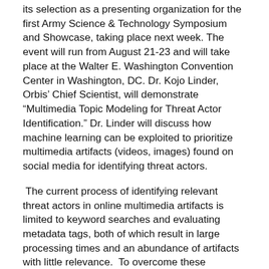its selection as a presenting organization for the first Army Science & Technology Symposium and Showcase, taking place next week. The event will run from August 21-23 and will take place at the Walter E. Washington Convention Center in Washington, DC. Dr. Kojo Linder, Orbis’ Chief Scientist, will demonstrate “Multimedia Topic Modeling for Threat Actor Identification.” Dr. Linder will discuss how machine learning can be exploited to prioritize multimedia artifacts (videos, images) found on social media for identifying threat actors.
The current process of identifying relevant threat actors in online multimedia artifacts is limited to keyword searches and evaluating metadata tags, both of which result in large processing times and an abundance of artifacts with little relevance.  To overcome these challenges, Orbis implements clustering models to group relevant artifacts based on text associated with the artifacts (chatroom blogs, tweets).
The National Defense Industrial Association (NDIA) is sponsoring the Symposium and will feature the latest